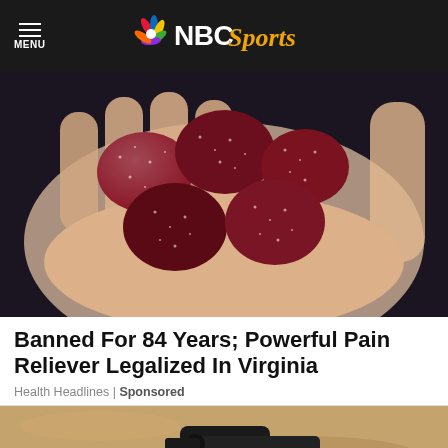NBC Sports
[Figure (photo): A hand holding several red/burgundy sugar-coated gummy candies against a dark background]
Banned For 84 Years; Powerful Pain Reliever Legalized In Virginia
Health Headlines | Sponsored
[Figure (photo): Partial view of a second article image showing a tan/sandy textured background with a dark object]